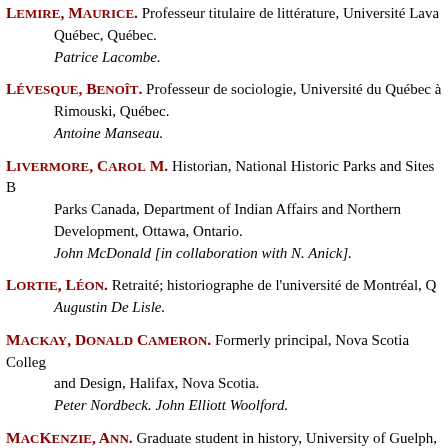Lemire, Maurice. Professeur titulaire de littérature, Université Laval, Québec, Québec. Patrice Lacombe.
Lévesque, Benoît. Professeur de sociologie, Université du Québec à Rimouski, Québec. Antoine Manseau.
Livermore, Carol M. Historian, National Historic Parks and Sites Branch, Parks Canada, Department of Indian Affairs and Northern Development, Ottawa, Ontario. John McDonald [in collaboration with N. Anick].
Lortie, Léon. Retraité; historiographe de l'université de Montréal, Québec. Augustin De Lisle.
Mackay, Donald Cameron. Formerly principal, Nova Scotia College of Art and Design, Halifax, Nova Scotia. Peter Nordbeck. John Elliott Woolford.
MacKenzie, Ann. Graduate student in history, University of Guelph, Ontario.